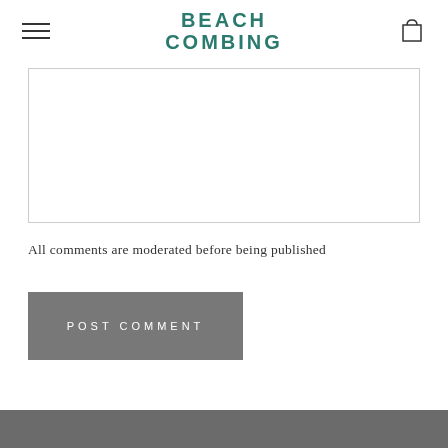BEACH COMBING
[Figure (other): Empty textarea/comment input box with light gray border]
All comments are moderated before being published
POST COMMENT